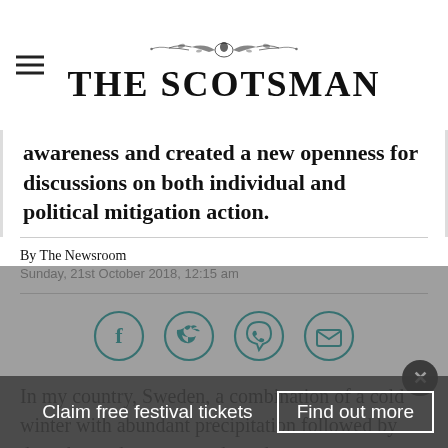THE SCOTSMAN
awareness and created a new openness for discussions on both individual and political mitigation action.
By The Newsroom
Sunday, 21st October 2018, 12:15 am
[Figure (infographic): Social sharing icons: Facebook, Twitter, WhatsApp, Email — teal circle outlines]
In my country, Sweden, a combination of a cold winter with abundant precipitation followed by droughts and an unprecedented
Claim free festival tickets
Find out more